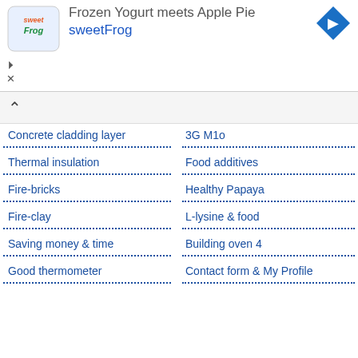[Figure (screenshot): Advertisement banner for sweetFrog frozen yogurt with logo and navigation arrow]
3G M1o
Concrete cladding layer
Food additives
Thermal insulation
Healthy Papaya
Fire-bricks
L-lysine & food
Fire-clay
Building oven 4
Saving money & time
Contact form & My Profile
Good thermometer